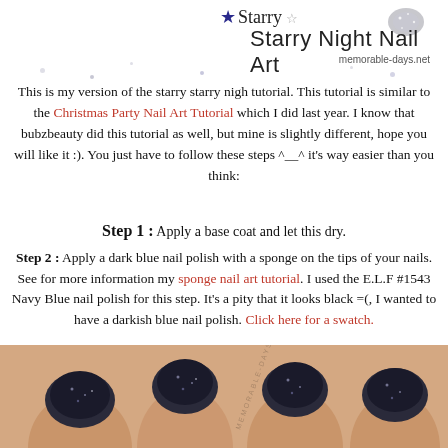★ Starry Starry Night Nail Art - memorable-days.net
This is my version of the starry starry nigh tutorial. This tutorial is similar to the Christmas Party Nail Art Tutorial which I did last year. I know that bubzbeauty did this tutorial as well, but mine is slightly different, hope you will like it :). You just have to follow these steps ^__^ it's way easier than you think:
Step 1 : Apply a base coat and let this dry.
Step 2 : Apply a dark blue nail polish with a sponge on the tips of your nails. See for more information my sponge nail art tutorial. I used the E.L.F #1543 Navy Blue nail polish for this step. It's a pity that it looks black =(, I wanted to have a darkish blue nail polish. Click here for a swatch.
[Figure (photo): Photo of hand with dark blue/black glitter nail polish applied to the tips of the nails, demonstrating Step 2 of the nail art tutorial. A 'Step 2' label in white italic text on black background is visible in the upper left of the photo.]